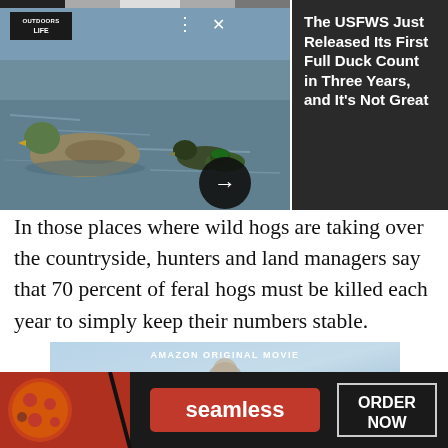[Figure (screenshot): Outdoor Life article thumbnail showing ducks on water with Outdoor Life logo, menu icons, and an arrow button overlay]
The USFWS Just Released Its First Full Duck Count in Three Years, and It's Not Great
In those places where wild hogs are taking over the countryside, hunters and land managers say that 70 percent of feral hogs must be killed each year to simply keep their numbers stable.
[Figure (advertisement): Amazon Original Movie advertisement featuring Kathryn Newton and Kyle Allen]
[Figure (advertisement): Seamless food delivery advertisement with pizza image, seamless logo button, and ORDER NOW box]